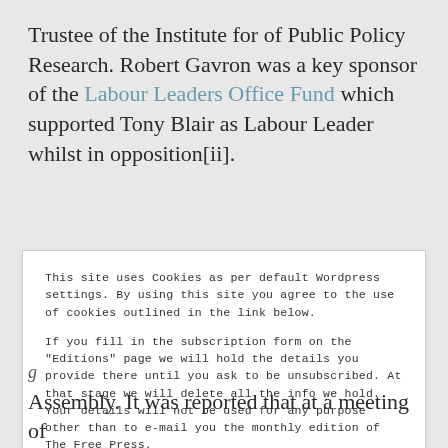Trustee of the Institute for of Public Policy Research. Robert Gavron was a key sponsor of the Labour Leaders Office Fund which supported Tony Blair as Labour Leader whilst in opposition[ii].
This site uses Cookies as per default Wordpress settings. By using this site you agree to the use of cookies outlined in the link below.

If you fill in the subscription form on the "Editions" page we will hold the details you provide there until you ask to be unsubscribed. At that stage we will delete all the info we hold. Your details will not be used for any purpose other than to e-mail you the monthly edition of The Free Press.
Cookie Policy
Close and accept
Assembly. It was reported that at a meeting of